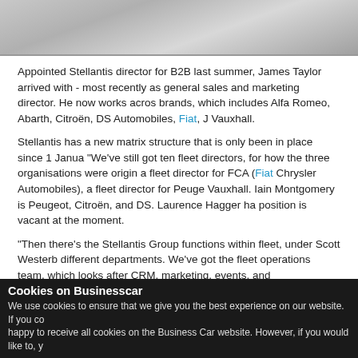[Figure (photo): Top portion of a car image, partially cropped, showing a metallic surface with motion blur effect in grey tones.]
Appointed Stellantis director for B2B last summer, James Taylor arrived with - most recently as general sales and marketing director. He now works acros brands, which includes Alfa Romeo, Abarth, Citroën, DS Automobiles, Fiat, J Vauxhall.
Stellantis has a new matrix structure that is only been in place since 1 Janua "We've still got ten fleet directors, for how the three organisations were origin a fleet director for FCA (Fiat Chrysler Automobiles), a fleet director for Peuge Vauxhall. Iain Montgomery is Peugeot, Citroën, and DS. Laurence Hagger ha position is vacant at the moment.
"Then there's the Stellantis Group functions within fleet, under Scott Westerb different departments. We've got the fleet operations team, which looks after CRM, marketing, events, and demonstrators." According to Taylor, all the beh collectively under this area. He explains that, additionally, there are several s Stellantis basis. These are rental, leasing, special vehicles, major corporate f operations.
Cookies on Businesscar
We use cookies to ensure that we give you the best experience on our website. If you co happy to receive all cookies on the Business Car website. However, if you would like to, y